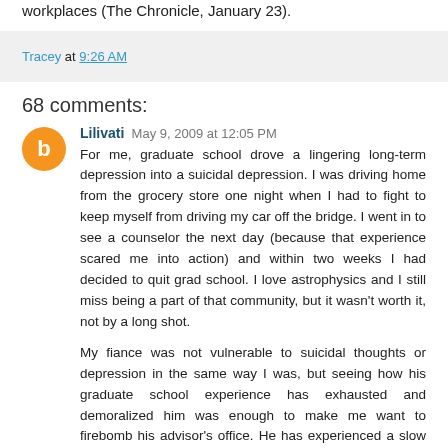workplaces (The Chronicle, January 23).
Tracey at 9:26 AM
68 comments:
Lilivati  May 9, 2009 at 12:05 PM
For me, graduate school drove a lingering long-term depression into a suicidal depression. I was driving home from the grocery store one night when I had to fight to keep myself from driving my car off the bridge. I went in to see a counselor the next day (because that experience scared me into action) and within two weeks I had decided to quit grad school. I love astrophysics and I still miss being a part of that community, but it wasn't worth it, not by a long shot.

My fiance was not vulnerable to suicidal thoughts or depression in the same way I was, but seeing how his graduate school experience has exhausted and demoralized him was enough to make me want to firebomb his advisor's office. He has experienced a slow and insidious